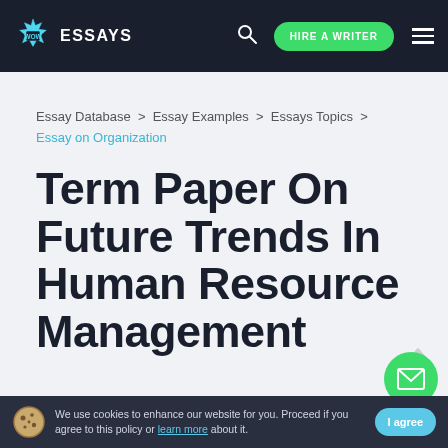WOW ESSAYS — HIRE A WRITER
Essay Database > Essay Examples > Essays Topics > Essay on Organization
Term Paper On Future Trends In Human Resource Management
We use cookies to enhance our website for you. Proceed if you agree to this policy or learn more about it.